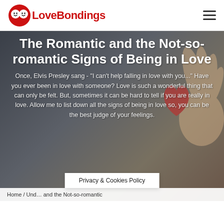LoveBondings
[Figure (photo): Hand holding a red heart against a dark background, used as hero banner image]
The Romantic and the Not-so-romantic Signs of Being in Love
Once, Elvis Presley sang - "I can't help falling in love with you..." Have you ever been in love with someone? Love is such a wonderful thing that can only be felt. But, sometimes it can be hard to tell if you are really in love. Allow me to list down all the signs of being in love so, you can be the best judge of your feelings.
Privacy & Cookies Policy
Home / Und… and the Not-so-romantic